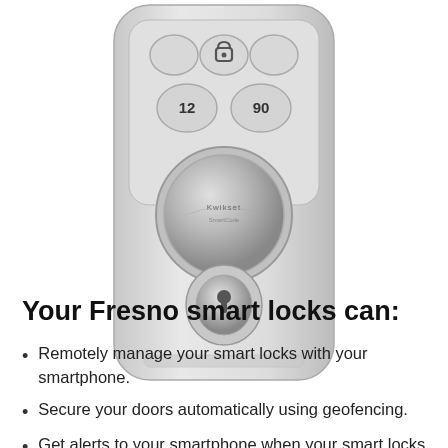[Figure (photo): A satin nickel smart deadbolt lock with keypad showing buttons including a lock icon button, number buttons (12, 90), a large round knob, and a key cylinder below.]
Your Fresno smart locks can:
Remotely manage your smart locks with your smartphone.
Secure your doors automatically using geofencing.
Get alerts to your smartphone when your smart locks are activated.
Program up to 30 unique lock codes.